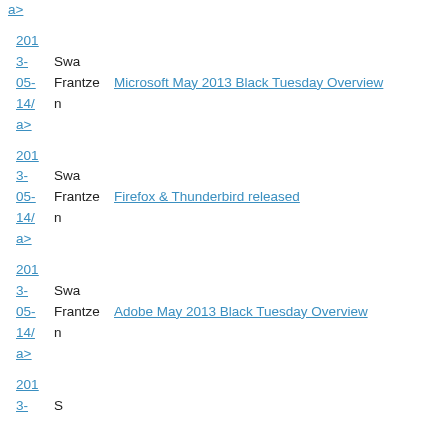a>
201
3-   Swa
05-  Frantze   Microsoft May 2013 Black Tuesday Overview
14/  n
a>
201
3-   Swa
05-  Frantze   Firefox & Thunderbird released
14/  n
a>
201
3-   Swa
05-  Frantze   Adobe May 2013 Black Tuesday Overview
14/  n
a>
201
3-   S